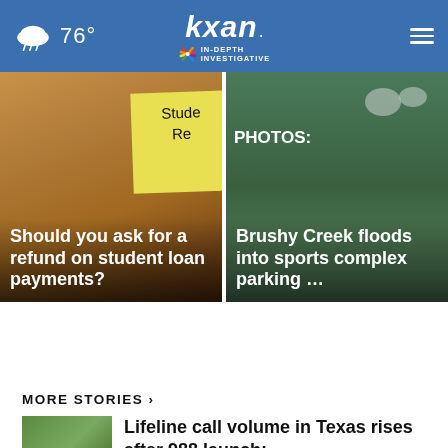76° KXAN IN-DEPTH INVESTIGATIVE
[Figure (photo): Student loan refund note photo with sticky note reading 'Student Re...']
Should you ask for a refund on student loan payments?
[Figure (photo): Brushy Creek flood waters in sports complex parking lot]
PHOTOS: Brushy Creek floods into sports complex parking …
Top Stories ›
MORE STORIES ›
[Figure (photo): Integral Care building sign surrounded by greenery]
Lifeline call volume in Texas rises after 988 launch; …